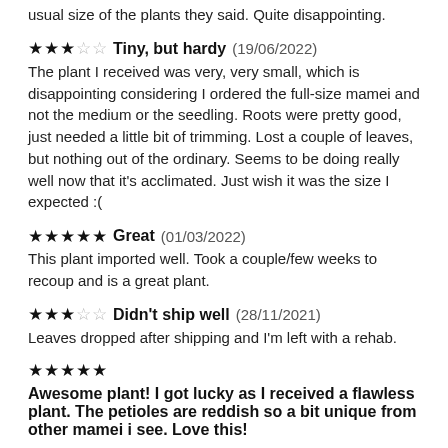usual size of the plants they said. Quite disappointing.
★★★☆☆  Tiny, but hardy (19/06/2022)
The plant I received was very, very small, which is disappointing considering I ordered the full-size mamei and not the medium or the seedling. Roots were pretty good, just needed a little bit of trimming. Lost a couple of leaves, but nothing out of the ordinary. Seems to be doing really well now that it's acclimated. Just wish it was the size I expected :(
★★★★★  Great (01/03/2022)
This plant imported well. Took a couple/few weeks to recoup and is a great plant.
★★★☆☆  Didn't ship well (28/11/2021)
Leaves dropped after shipping and I'm left with a rehab.
★★★★★  Awesome plant! I got lucky as I received a flawless plant. The petioles are reddish so a bit unique from other mamei i see. Love this! (20/10/2021)